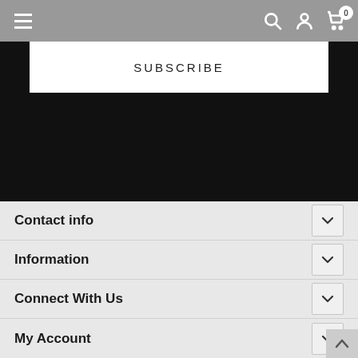Navigation bar with hamburger menu, search, account, and cart icons
SUBSCRIBE
Contact info
Information
Connect With Us
My Account